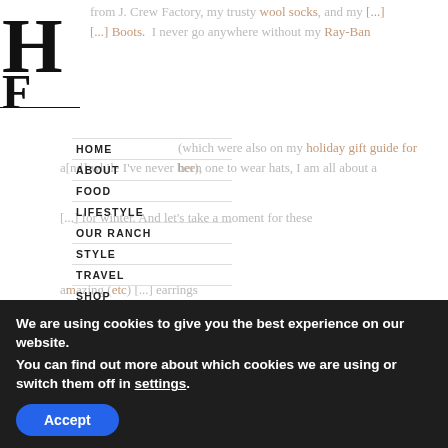[Figure (logo): HF or similar serif bold logo mark, large letters in top-left corner]
from J. Crew Factory, my trusty wool socks, and my [...]
[...] Boots. I never go anywhere without my Ray-Ban
(which were also on my holiday gift guide for her),
a[nd] while I've never been one to wear hats, I am all about a
[...] for winter. And let's take a moment for these
a[m]azing (etc) [...] earrings
HOME
ABOUT
FOOD
LIFESTYLE
OUR RANCH
STYLE
TRAVEL
SHOP
HOLIDAYS
Photos by Glory Roze Photography
We are using cookies to give you the best experience on our website.
You can find out more about which cookies we are using or switch them off in settings.